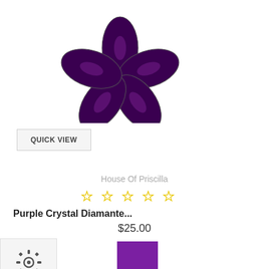[Figure (photo): Purple crystal diamante flower brooch/jewelry piece on white background]
QUICK VIEW
House Of Priscilla
[Figure (other): Five empty yellow star rating icons]
Purple Crystal Diamante...
$25.00
[Figure (other): Gear/settings icon and purple color swatch]
[Figure (other): Facebook share button (blue with f) and Add to Cart button (magenta/pink)]
[Figure (other): WhatsApp icon button (green)]
CUSTOMERS WHO BOUGHT THIS PRODUCT